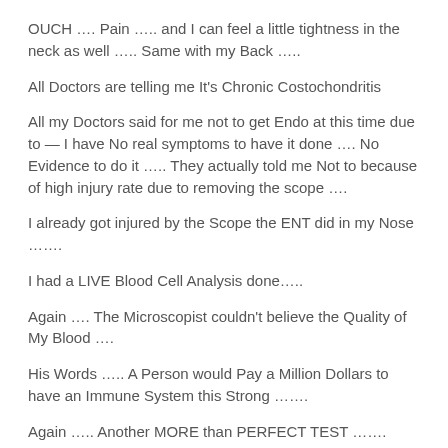OUCH …. Pain ….. and I can feel a little tightness in the neck as well ….. Same with my Back ….
All Doctors are telling me It's Chronic Costochondritis
All my Doctors said for me not to get Endo at this time due to — I have No real symptoms to have it done …. No Evidence to do it ….. They actually told me Not to because of high injury rate due to removing the scope ….
I already got injured by the Scope the ENT did in my Nose …….
I had a LIVE Blood Cell Analysis done…..
Again …. The Microscopist couldn't believe the Quality of My Blood ….
His Words ….. A Person would Pay a Million Dollars to have an Immune System this Strong …….
Again ….. Another MORE than PERFECT TEST …….